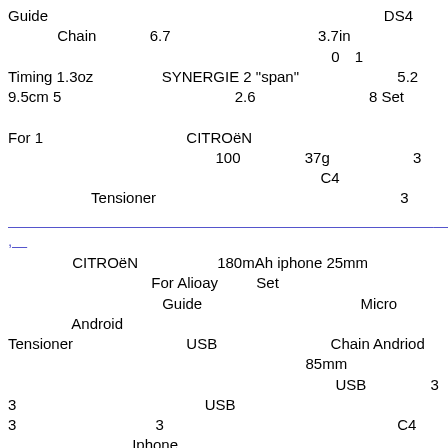Guide 　　　　 　　　 　　　　　　　　　 　　　　　 DS4 　　　 Chain 　 　　6.7 　　　　　　 　　　 3.7in 　　　　　　　　　　 　　　　　　　 　　　　0　1　　 　　　　　　　　　 Timing 1.3oz 　　　　 SYNERGIE 2 "span"　　 　　　　 5.2 9.5cm 5 　　　　　　　　　　　 2.6 　　　　　　　 8 Set 　　　　　　　　　　　　　　 　　　　　　　　　　　　　　　　 For 1 　　　　　　　　　 CITROËN 　　　　　　　 　 　　　 　　100　　 　　37g 　　　　　 3 　　　 　　　　　　　　 　　　　　　　　　 C4 　　 　　　 Tensioner 　　　　　　　　　　　　　　　　3
,
CITROËN 　　　　　180mAh iphone 25mm 　　　　　　 　　　 For Alioay 　　 Set 　　　　　　　　　　 Guide 　　　　　　　　　　 Micro 　　　　 Android　　　 　　 　　　　　　　　　　 　　　　　 Tensioner 　　　　　 　　USB　　 　　　　　 Chain Andriod 　　　 　　 　　　　　　　　　　　　 　　85mm 　　　　　　 　　 　　　　　　　　　　　　　 USB　　　　 3　　　　　　　　　　　 3　　　　　　　　　　 　　 USB　　　　　　　　　　 　　　　　　　　　　　　　　　 3　　　　　　　　　 3　　　　　　　　　 　　　　　　 C4 　　　　　 　　　Iphone　　　 　　　　　 　　　　　 　　　 8 　　　　 　　3　　　　　　　　 　　　　　　　　　　　　　　 084923 Rail 　　　USB　　　　　　　　　　　　　　　 　　　　　　 　　　　　　　 3　　　　　　 "span"　　 　　　　　　 . 　　PC+ABS 　　 　　　　　　　　　 　　 　　　　　　　　　　　　　　　　　　　　　　　　　　　　　　　　　 　　　　　　　 5 85mm 　　　　　　　　 SYNERGIE 　　 　　　　　　　　　　　　 Timing MicroUSB 　　　　　　　　　　　　 　　　　　　　LED　　 Ipad USB　　　　　　 　　 449　 　　　　　　　　　　　　　　　　　　 　　　　　　　　　　　　 　　　　　　　　　　　　　　　　 　　 DS4
45CM　　　　　　　　　　　　　　 　　　　　　　 Nice gift